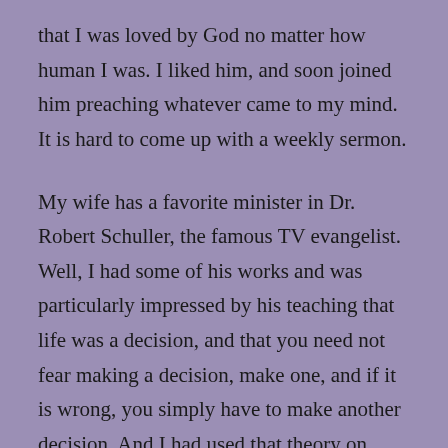that I was loved by God no matter how human I was. I liked him, and soon joined him preaching whatever came to my mind. It is hard to come up with a weekly sermon.
My wife has a favorite minister in Dr. Robert Schuller, the famous TV evangelist. Well, I had some of his works and was particularly impressed by his teaching that life was a decision, and that you need not fear making a decision, make one, and if it is wrong, you simply have to make another decision. And I had used that theory on Dawn's heart and mind, to convince her to love me, and the worse thing that could happen is that she would have to make another decision. Soon we or she was watching